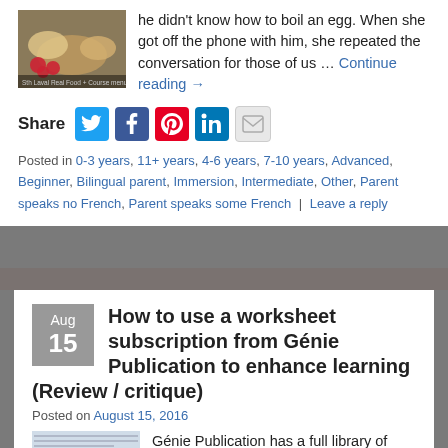he didn't know how to boil an egg. When she got off the phone with him, she repeated the conversation for those of us … Continue reading →
Share
Posted in 0-3 years, 11+ years, 4-6 years, 7-10 years, Advanced, Beginner, Bilingual parent, Immersion, Intermediate, Other, Parent speaks no French, Parent speaks some French | Leave a reply
How to use a worksheet subscription from Génie Publication to enhance learning (Review / critique)
Posted on August 15, 2016
Génie Publication has a full library of worksheets and curriculum – all downloadable. The site is divided into 2